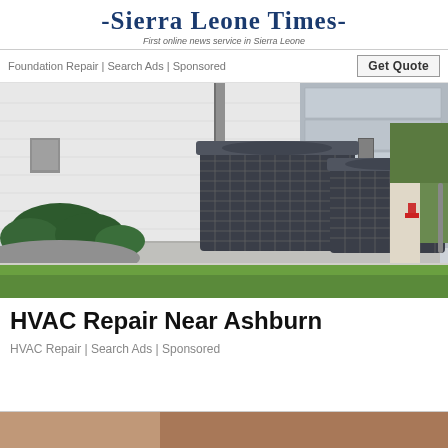-Sierra Leone Times- First online news service in Sierra Leone
Foundation Repair | Search Ads | Sponsored  Get Quote
[Figure (photo): Two HVAC outdoor air conditioning units installed on concrete pads beside a white brick building with green lawn]
HVAC Repair Near Ashburn
HVAC Repair | Search Ads | Sponsored
[Figure (photo): Partial view of another advertisement image at the bottom of the page]